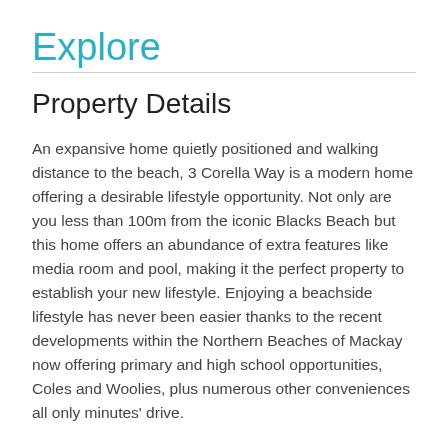Explore
Property Details
An expansive home quietly positioned and walking distance to the beach, 3 Corella Way is a modern home offering a desirable lifestyle opportunity. Not only are you less than 100m from the iconic Blacks Beach but this home offers an abundance of extra features like media room and pool, making it the perfect property to establish your new lifestyle. Enjoying a beachside lifestyle has never been easier thanks to the recent developments within the Northern Beaches of Mackay now offering primary and high school opportunities, Coles and Woolies, plus numerous other conveniences all only minutes' drive.